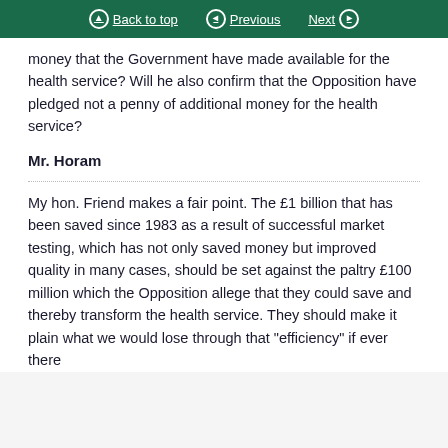Back to top | Previous | Next
money that the Government have made available for the health service? Will he also confirm that the Opposition have pledged not a penny of additional money for the health service?
Mr. Horam
My hon. Friend makes a fair point. The £1 billion that has been saved since 1983 as a result of successful market testing, which has not only saved money but improved quality in many cases, should be set against the paltry £100 million which the Opposition allege that they could save and thereby transform the health service. They should make it plain what we would lose through that "efficiency" if ever there